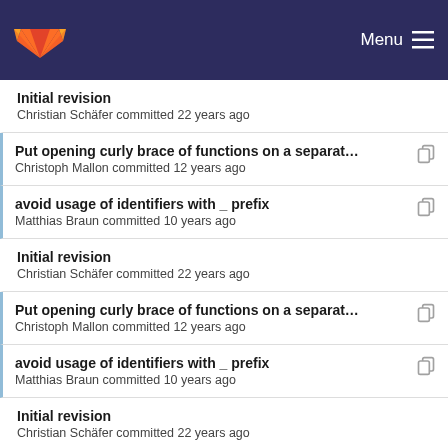Menu
Initial revision
Christian Schäfer committed 22 years ago
Put opening curly brace of functions on a separat…
Christoph Mallon committed 12 years ago
avoid usage of identifiers with _ prefix
Matthias Braun committed 10 years ago
Initial revision
Christian Schäfer committed 22 years ago
Put opening curly brace of functions on a separat…
Christoph Mallon committed 12 years ago
avoid usage of identifiers with _ prefix
Matthias Braun committed 10 years ago
Initial revision
Christian Schäfer committed 22 years ago
Imprint